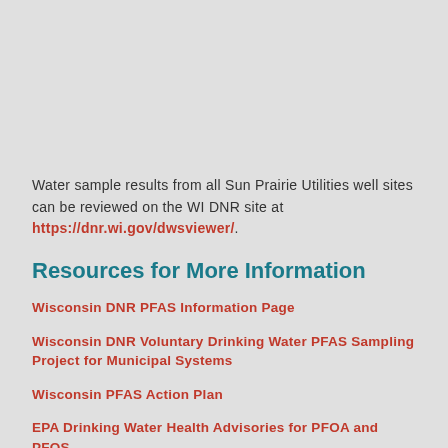Water sample results from all Sun Prairie Utilities well sites can be reviewed on the WI DNR site at https://dnr.wi.gov/dwsviewer/.
Resources for More Information
Wisconsin DNR PFAS Information Page
Wisconsin DNR Voluntary Drinking Water PFAS Sampling Project for Municipal Systems
Wisconsin PFAS Action Plan
EPA Drinking Water Health Advisories for PFOA and PFOS